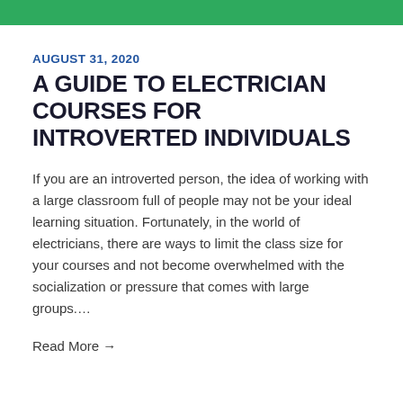AUGUST 31, 2020
A GUIDE TO ELECTRICIAN COURSES FOR INTROVERTED INDIVIDUALS
If you are an introverted person, the idea of working with a large classroom full of people may not be your ideal learning situation. Fortunately, in the world of electricians, there are ways to limit the class size for your courses and not become overwhelmed with the socialization or pressure that comes with large groups....
Read More →